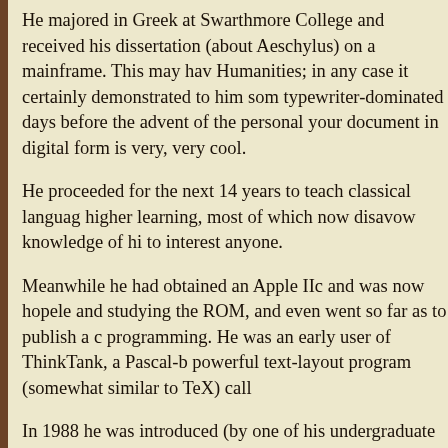He majored in Greek at Swarthmore College and received his dissertation (about Aeschylus) on a mainframe. This may have Humanities; in any case it certainly demonstrated to him som typewriter-dominated days before the advent of the personal your document in digital form is very, very cool.
He proceeded for the next 14 years to teach classical languag higher learning, most of which now disavow knowledge of hi to interest anyone.
Meanwhile he had obtained an Apple IIc and was now hopele and studying the ROM, and even went so far as to publish a c programming. He was an early user of ThinkTank, a Pascal-b powerful text-layout program (somewhat similar to TeX) call
In 1988 he was introduced (by one of his undergraduate stude pronounced it a useless overpriced toy, but a year or two later which he employed to write some educational freeware and o spent a lot of time with programs such as Nisus, Storyspace, a the same time, being an academic, he was enthusiastically usi it. He soon became an early regular Contributing Editor for th former student of his, Adam Engst); he continues to hold that software reviews and technical explanatory articles for TidBI
In 1995, Matt Neuburg abandoned the Groves of Academe to